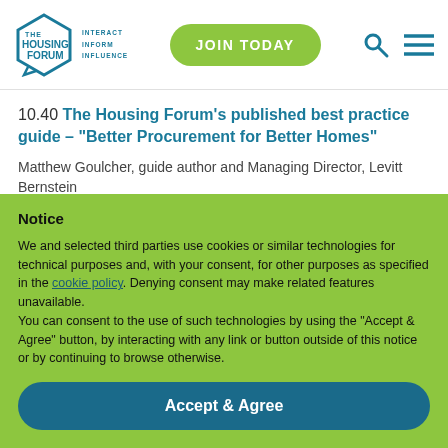[Figure (logo): The Housing Forum logo with hexagonal speech bubble icon and tagline: Interact Inform Influence]
JOIN TODAY
10.40 The Housing Forum's published best practice guide – "Better Procurement for Better Homes"
Matthew Goulcher, guide author and Managing Director, Levitt Bernstein
11.00 -11.10 Q & A
Notice
We and selected third parties use cookies or similar technologies for technical purposes and, with your consent, for other purposes as specified in the cookie policy. Denying consent may make related features unavailable.
You can consent to the use of such technologies by using the "Accept & Agree" button, by interacting with any link or button outside of this notice or by continuing to browse otherwise.
Accept & Agree